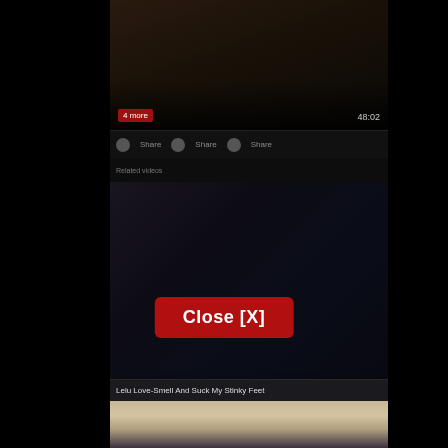[Figure (screenshot): Video player interface showing a dark-themed adult content website with video thumbnails, controls, a red Close [X] button overlay, and a video title 'Lelu Love-Smell And Suck My Stinky Feet']
6 years ago
02:17
Close [X]
Lelu Love-Smell And Suck My Stinky Feet